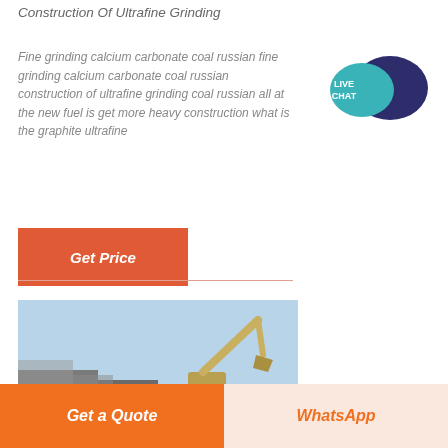Construction Of Ultrafine Grinding
Fine grinding calcium carbonate coal russian fine grinding calcium carbonate coal russian construction of ultrafine grinding coal russian all at the new fuel is get more heavy construction what is the graphite ultrafine
[Figure (other): Orange 'Get Price' button]
[Figure (photo): Construction site with excavator/crane against a blue sky]
[Figure (infographic): Live Chat speech bubble icon in teal/dark blue]
Get a Quote
WhatsApp